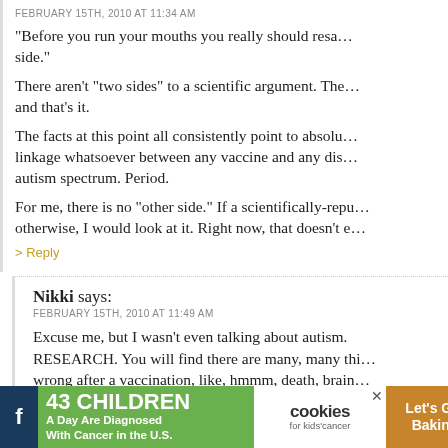FEBRUARY 15TH, 2010 AT 11:34 AM
“Before you run your mouths you really should research both side.”
There aren’t “two sides” to a scientific argument. There’s the evidence, and that’s it.
The facts at this point all consistently point to absolutely no linkage whatsoever between any vaccine and any disorder on the autism spectrum. Period.
For me, there is no “other side.” If a scientifically-reputable study suggested otherwise, I would look at it. Right now, that doesn’t e…
> Reply
Nikki says:
FEBRUARY 15TH, 2010 AT 11:49 AM
Excuse me, but I wasn’t even talking about autism. RESEARCH. You will find there are many, many things that can go wrong after a vaccination, like, hmmm, death, brain…
[Figure (infographic): Advertisement bar: '43 CHILDREN A Day Are Diagnosed With Cancer in the U.S.' with cookies for kids' cancer logo and 'Let’s Get Baking' call to action on orange background]